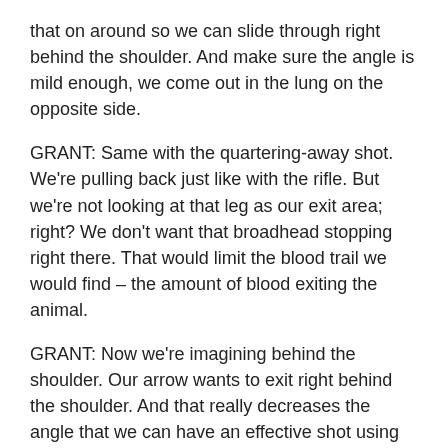that on around so we can slide through right behind the shoulder. And make sure the angle is mild enough, we come out in the lung on the opposite side.
GRANT: Same with the quartering-away shot. We're pulling back just like with the rifle. But we're not looking at that leg as our exit area; right? We don't want that broadhead stopping right there. That would limit the blood trail we would find – the amount of blood exiting the animal.
GRANT: Now we're imagining behind the shoulder. Our arrow wants to exit right behind the shoulder. And that really decreases the angle that we can have an effective shot using archery equipment.
GRANT: Another really strong consideration, even if the deer is perfectly broadside, is that deer often react to the sound of the bow or a crossbow being